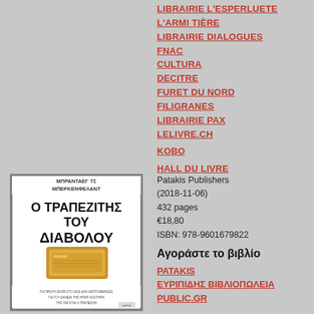LIBRAIRIE L'ESPERLUETE
L'ARMI TIÈRE
LIBRAIRIE DIALOGUES
FNAC
CULTURA
DECITRE
FURET DU NORD
FILIGRANES
LIBRAIRIE PAX
LELIVRE.CH
KOBO
HALL DU LIVRE
[Figure (photo): Book cover of 'O TRAPEZITIS TOU DIABOLOU' (Ο ΤΡΑΠΕΖΙΤΗΣ ΤΟΥ ΔΙΑΒΟΛΟΥ) published by Patakis, showing a gold bar on white background]
Patakis Publishers
(2018-11-06)
432 pages
€18,80
ISBN: 978-9601679822
Αγοράστε το βιβλίο
PATAKIS
ΕΥΡΙΠΙΔΗΣ ΒΙΒΛΙΟΠΩΛΕΙΑ
PUBLIC.GR